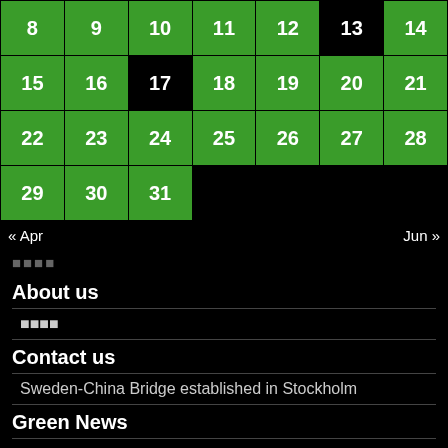| 8 | 9 | 10 | 11 | 12 | 13 | 14 |
| 15 | 16 | 17 | 18 | 19 | 20 | 21 |
| 22 | 23 | 24 | 25 | 26 | 27 | 28 |
| 29 | 30 | 31 |  |  |  |  |
« Apr    Jun »
□□□□
About us
□□□□
Contact us
Sweden-China Bridge established in Stockholm
Green News
□□□□